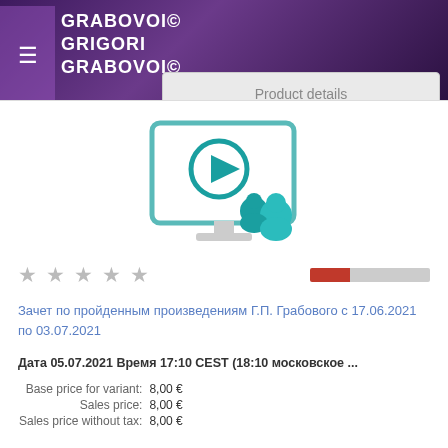GRABOVOI© GRIGORI GRABOVOI©
Product details
[Figure (illustration): Icon of a computer monitor with a play button and two user/people icons in teal color]
★ ★ ★ ★ ★ (star rating row with red/gray rating bar)
Зачет по пройденным произведениям Г.П. Грабового с 17.06.2021 по 03.07.2021
Дата 05.07.2021 Время 17:10 CEST (18:10 московское ...
| Label | Price |
| --- | --- |
| Base price for variant: | 8,00 € |
| Sales price: | 8,00 € |
| Sales price without tax: | 8,00 € |
Notify Me
Product details